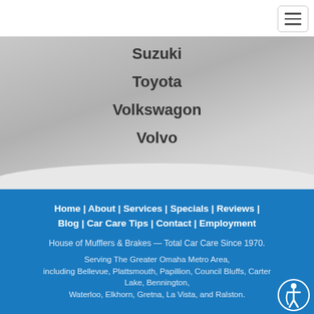Suzuki
Toyota
Volkswagon
Volvo
Home | About | Services | Specials | Reviews | Blog | Car Care Tips | Contact | Employment
House of Mufflers & Brakes — Total Car Care Since 1970.
Serving The Greater Omaha Metro Area, including Bellevue, Plattsmouth, Papillion, Council Bluffs, Carter Lake, Bennington, Waterloo, Elkhorn, Gretna, La Vista, and Ralston.